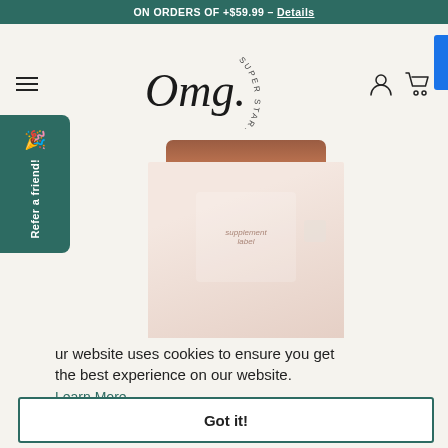ON ORDERS OF +$59.99 – Details
[Figure (logo): Omg. Super Starts Inside logo with circular text and cursive wordmark]
[Figure (illustration): Refer a friend green sidebar tab with party emoji]
[Figure (photo): Product supplement bottle with pinkish-beige label, partially visible]
ur website uses cookies to ensure you get the best experience on our website.
Learn More
Got it!